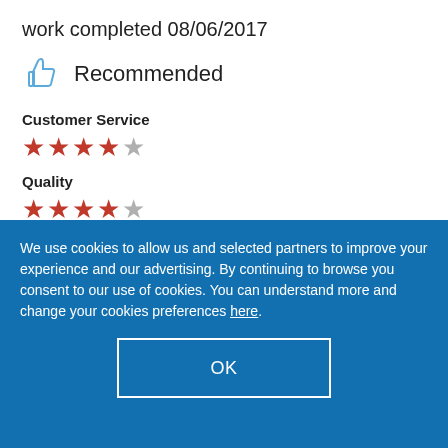work completed 08/06/2017
Recommended
Customer Service
[Figure (other): 4 out of 5 red stars rating for Customer Service]
Quality
[Figure (other): 4 out of 5 red stars rating for Quality]
Value
We use cookies to allow us and selected partners to improve your experience and our advertising. By continuing to browse you consent to our use of cookies. You can understand more and change your cookies preferences here.
OK